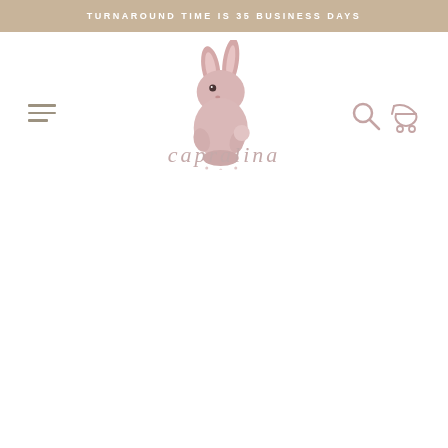TURNAROUND TIME IS 35 BUSINESS DAYS
[Figure (logo): Capralina baby shop logo: watercolor pink bunny rabbit above cursive brand name 'capralina', with hamburger menu icon on left and search/stroller icons on right]